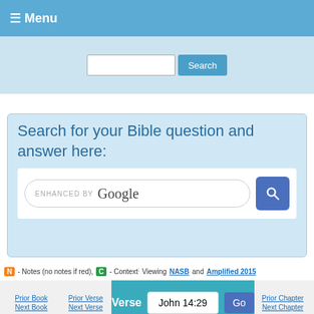≡ Menu
[Figure (screenshot): Search bar with input field and Search button on light blue background]
Search for your Bible question and answer here:
[Figure (screenshot): Enhanced by Google search box with magnifying glass button]
N - Notes (no notes if red), C - Context; Viewing NASB and Amplified 2015
Verse navigation bar: Prior Book, Prior Verse, Verse John 14:29 Go, Prior Chapter, Next Book, Next Verse, Next Chapter
NASB N C John 14:29 "Now 3568 A I have told 3004 you before 4250 it happens, 1096